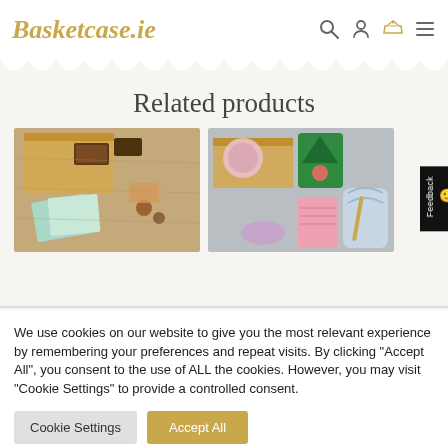Basketcase.ie
Related products
[Figure (photo): A gift basket with chocolate bars, cards, and snacks laid out on a wooden surface.]
[Figure (photo): A gift box with snacks, socks, a notebook, and other items on a grey surface.]
We use cookies on our website to give you the most relevant experience by remembering your preferences and repeat visits. By clicking “Accept All”, you consent to the use of ALL the cookies. However, you may visit “Cookie Settings” to provide a controlled consent.
Cookie Settings
Accept All